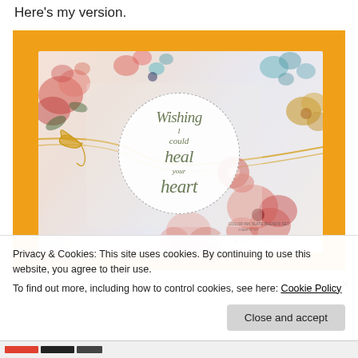Here's my version.
[Figure (photo): A handmade greeting card with floral watercolor background on an orange backdrop. The card features a white circular tag with dashed border containing script text reading 'Wishing I could heal your heart' in olive/sage green script. Gold chain ribbon decorates the card. Colorful painted flowers in pink, red, teal, and yellow surround the circle. A signature reading 'rebecca sour' appears in white at the bottom right.]
Privacy & Cookies: This site uses cookies. By continuing to use this website, you agree to their use.
To find out more, including how to control cookies, see here: Cookie Policy
Close and accept